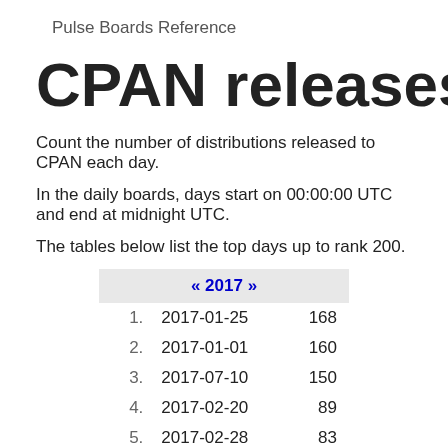Pulse   Boards   Reference
CPAN releases top da
Count the number of distributions released to CPAN each day.
In the daily boards, days start on 00:00:00 UTC and end at midnight UTC.
The tables below list the top days up to rank 200.
| « 2017 » |  |  |
| --- | --- | --- |
| 1. | 2017-01-25 | 168 |
| 2. | 2017-01-01 | 160 |
| 3. | 2017-07-10 | 150 |
| 4. | 2017-02-20 | 89 |
| 5. | 2017-02-28 | 83 |
| 6. | 2017-03-01 | 82 |
| 7. | 2017-03-07 | 81 |
| 8. | 2017-05-11 | 79 |
| 9. | 2017-01-31 | 79 |